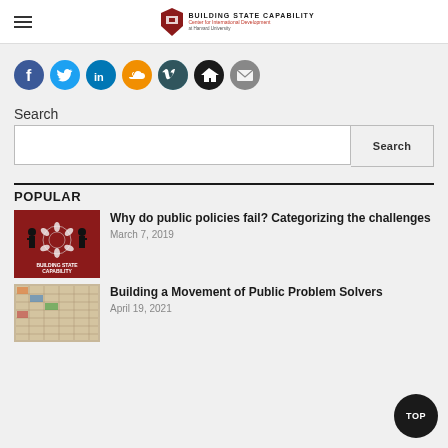BUILDING STATE CAPABILITY — Center for International Development at Harvard University
[Figure (other): Social media icons: Facebook (blue), Twitter (light blue), LinkedIn (blue), SoundCloud (orange), Vimeo (dark green), Home (black), Email (gray)]
Search
Search
POPULAR
[Figure (illustration): Building State Capability logo on red background showing two silhouetted figures with a circular pattern of leaves/papers between them]
Why do public policies fail? Categorizing the challenges
March 7, 2019
[Figure (photo): Thumbnail image for Building a Movement of Public Problem Solvers]
Building a Movement of Public Problem Solvers
April 19, 2021